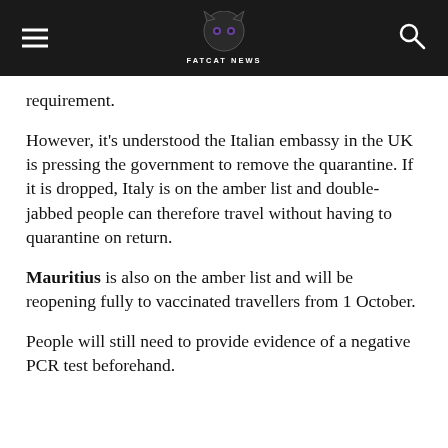FATCAT NEWS
requirement.
However, it's understood the Italian embassy in the UK is pressing the government to remove the quarantine. If it is dropped, Italy is on the amber list and double-jabbed people can therefore travel without having to quarantine on return.
Mauritius is also on the amber list and will be reopening fully to vaccinated travellers from 1 October.
People will still need to provide evidence of a negative PCR test beforehand.